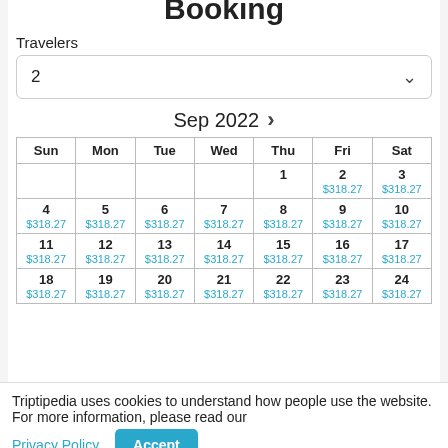Booking
Travelers
2
Sep 2022 >
| Sun | Mon | Tue | Wed | Thu | Fri | Sat |
| --- | --- | --- | --- | --- | --- | --- |
|  |  |  |  | 1 | 2
$318.27 | 3
$318.27 |
| 4
$318.27 | 5
$318.27 | 6
$318.27 | 7
$318.27 | 8
$318.27 | 9
$318.27 | 10
$318.27 |
| 11
$318.27 | 12
$318.27 | 13
$318.27 | 14
$318.27 | 15
$318.27 | 16
$318.27 | 17
$318.27 |
| 18
$318.27 | 19
$318.27 | 20
$318.27 | 21
$318.27 | 22
$318.27 | 23
$318.27 | 24
$318.27 |
Triptipedia uses cookies to understand how people use the website. For more information, please read our Privacy Policy. Accept